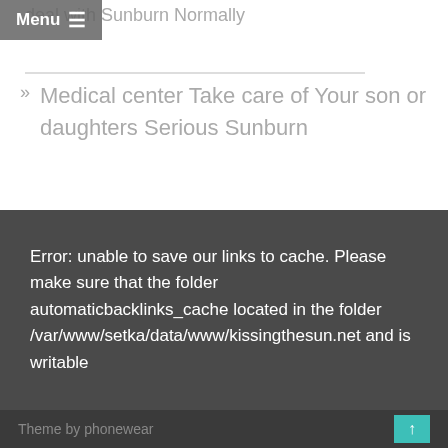deal with Sunburn Normally
Menu ≡
Medical center Take care of Your son or daughters Serious Sunburn
Error: unable to save our links to cache. Please make sure that the folder automaticbacklinks_cache located in the folder /var/www/setka/data/www/kissingthesun.net and is writable
Theme by phonewear